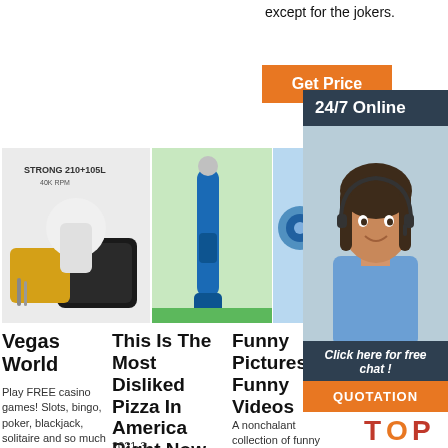except for the jokers.
[Figure (other): Orange 'Get Price' button]
[Figure (other): Dark panel with '24/7 Online' text and customer service representative photo with headset, 'Click here for free chat!' text, and orange QUOTATION button]
[Figure (photo): Product image - STRONG 210+105L 40K RPM nail drill machine kit with case]
[Figure (photo): Blue dental or beauty tool standing upright on green surface]
[Figure (photo): Partially visible product image]
Vegas World
Play FREE casino games! Slots, bingo, poker, blackjack, solitaire and so much more! WIN BIG
This Is The Most Disliked Pizza In America Right Now
2021-3-
Funny Pictures, Funny Videos
A nonchalant collection of funny pictures, slightly-
[Figure (logo): TOP logo with orange triangle dots above red and orange 'TOP' text]